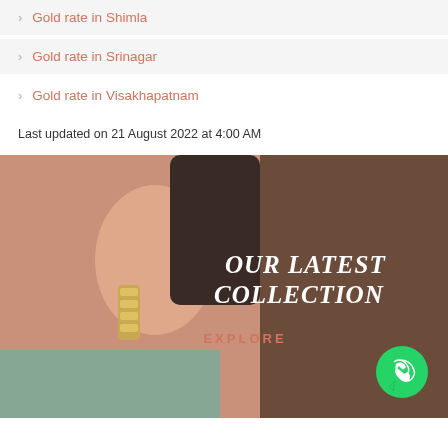Gold rate in Shimla
Gold rate in Srinagar
Gold rate in Visakhapatnam
Last updated on 21 August 2022 at 4:00 AM
[Figure (photo): Close-up photo of a woman's ear wearing a gold earring, with text overlay reading 'OUR LATEST COLLECTION' and 'EXPLORE', plus a WhatsApp button icon]